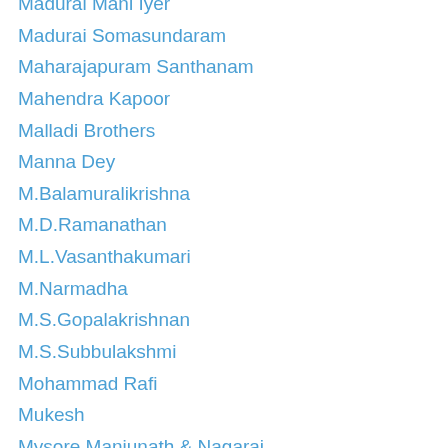Madurai Mani Iyer
Madurai Somasundaram
Maharajapuram Santhanam
Mahendra Kapoor
Malladi Brothers
Manna Dey
M.Balamuralikrishna
M.D.Ramanathan
M.L.Vasanthakumari
M.Narmadha
M.S.Gopalakrishnan
M.S.Subbulakshmi
Mohammad Rafi
Mukesh
Mysore Manjunath & Nagaraj
N.C.Vasanthakokilam
Neyveli Santhanagopalan
Nisha Rajagopal
Nithyasree Mahadevan
Nusrat Fateh Ali Khan